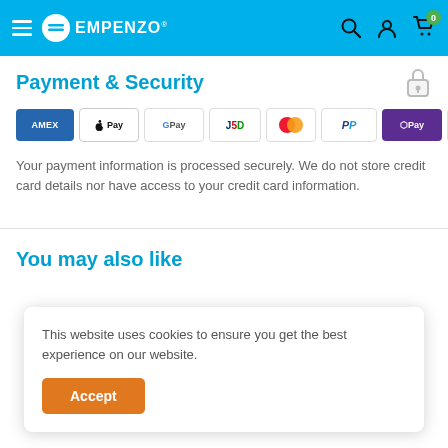EMPENZO — navigation header with logo, search, account, and cart icons
Payment & Security
[Figure (other): Payment method logos: American Express, Apple Pay, Google Pay, JCB, Mastercard, PayPal, OPay, VISA]
Your payment information is processed securely. We do not store credit card details nor have access to your credit card information.
You may also like
This website uses cookies to ensure you get the best experience on our website.